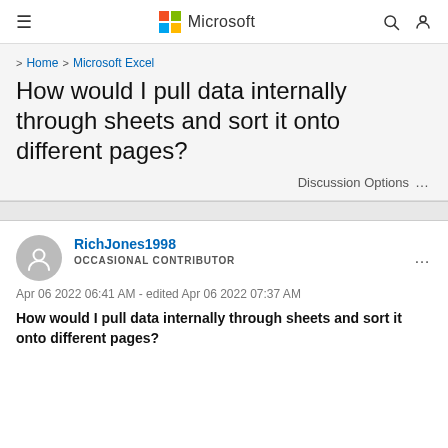Microsoft
> Home > Microsoft Excel
How would I pull data internally through sheets and sort it onto different pages?
Discussion Options ...
RichJones1998
OCCASIONAL CONTRIBUTOR
Apr 06 2022 06:41 AM - edited Apr 06 2022 07:37 AM
How would I pull data internally through sheets and sort it onto different pages?